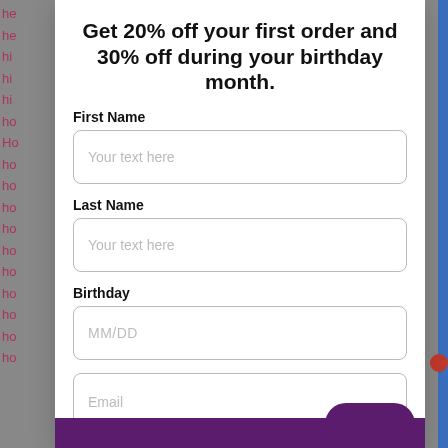Get 20% off your first order and 30% off during your birthday month.
First Name
Your text here
Last Name
Your text here
Birthday
MM/DD
Email
Rewards